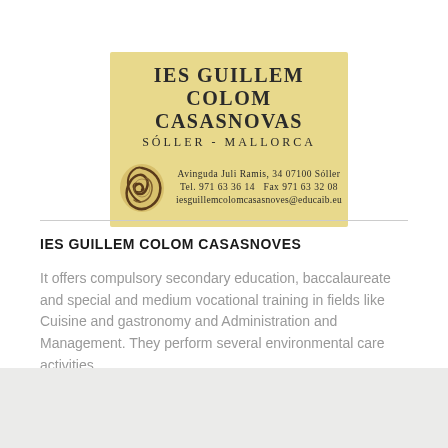[Figure (logo): IES Guillem Colom Casasnovas school letterhead on yellow/gold background with a snail shell logo. Text includes school name, location (Sóller - Mallorca), address (Avinguda Juli Ramis, 34 07100 Sóller), telephone and fax numbers, and email iesguillemcolomcasasnoves@educaib.eu]
IES GUILLEM COLOM CASASNOVES
It offers compulsory secondary education, baccalaureate and special and medium vocational training in fields like Cuisine and gastronomy and Administration and Management. They perform several environmental care activities.